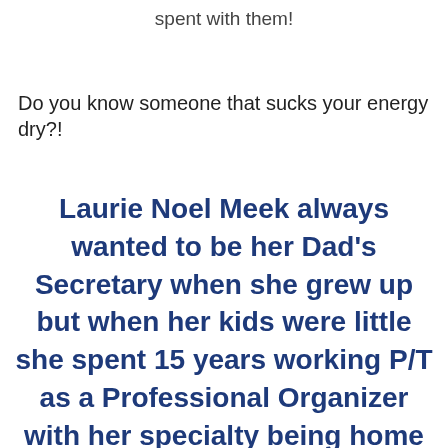spent with them!
Do you know someone that sucks your energy dry?!
Laurie Noel Meek always wanted to be her Dad's Secretary when she grew up but when her kids were little she spent 15 years working P/T as a Professional Organizer with her specialty being home offices. Finally in 2011 her passion for all office products and her love of organization